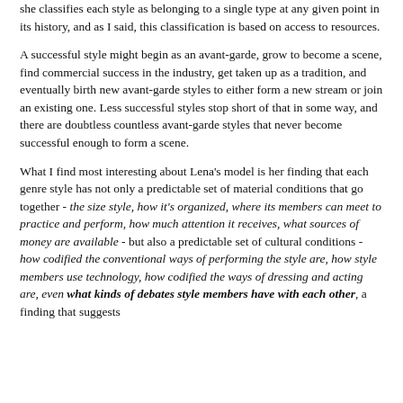she classifies each style as belonging to a single type at any given point in its history, and as I said, this classification is based on access to resources.
A successful style might begin as an avant-garde, grow to become a scene, find commercial success in the industry, get taken up as a tradition, and eventually birth new avant-garde styles to either form a new stream or join an existing one. Less successful styles stop short of that in some way, and there are doubtless countless avant-garde styles that never become successful enough to form a scene.
What I find most interesting about Lena's model is her finding that each genre style has not only a predictable set of material conditions that go together - the size style, how it's organized, where its members can meet to practice and perform, how much attention it receives, what sources of money are available - but also a predictable set of cultural conditions - how codified the conventional ways of performing the style are, how style members use technology, how codified the ways of dressing and acting are, even what kinds of debates style members have with each other, a finding that suggests...